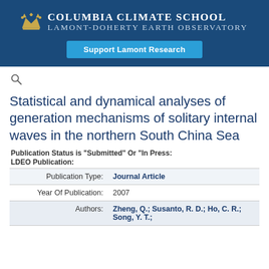[Figure (logo): Columbia Climate School Lamont-Doherty Earth Observatory banner with crown logo and Support Lamont Research button]
Statistical and dynamical analyses of generation mechanisms of solitary internal waves in the northern South China Sea
Publication Status is "Submitted" Or "In Press:"
LDEO Publication:
| Field | Value |
| --- | --- |
| Publication Type: | Journal Article |
| Year Of Publication: | 2007 |
| Authors: | Zheng, Q.; Susanto, R. D.; Ho, C. R.; Song, Y. T.; |